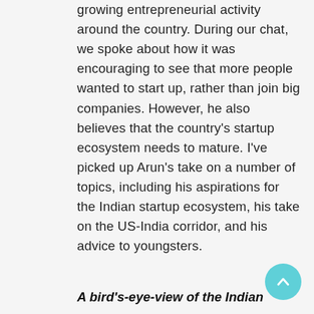growing entrepreneurial activity around the country. During our chat, we spoke about how it was encouraging to see that more people wanted to start up, rather than join big companies. However, he also believes that the country's startup ecosystem needs to mature. I've picked up Arun's take on a number of topics, including his aspirations for the Indian startup ecosystem, his take on the US-India corridor, and his advice to youngsters.
A bird's-eye-view of the Indian